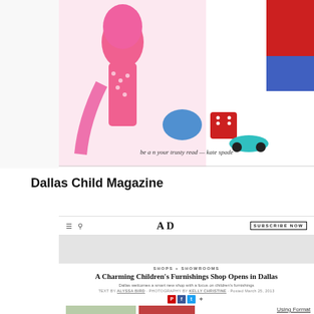[Figure (photo): Magazine spread featuring a pink-dressed doll/figure with children's items like socks, toys, and a blue helmet. Kate Spade branding visible. Text columns on the right side of the spread. Page number 381 at bottom right.]
Dallas Child Magazine
[Figure (screenshot): Architectural Digest (AD) website screenshot showing navigation bar with hamburger menu, search icon, AD logo in center, and SUBSCRIBE NOW button on right. Below is a hero banner area and article section.]
SHOPS + SHOWROOMS
A Charming Children's Furnishings Shop Opens in Dallas
Dallas welcomes a smart new shop with a focus on children's furnishings
TEXT BY ALYSSA BIRD · PHOTOGRAPHY BY KELLY CHRISTINE · Posted March 25, 2013
Using Format